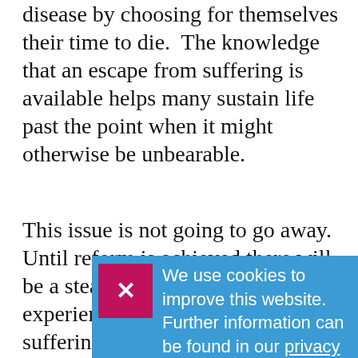disease by choosing for themselves their time to die. The knowledge that an escape from suffering is available helps many sustain life past the point when it might otherwise be unbearable.
This issue is not going to go away. Until reform is achieved there will be a steady flow of individuals experiencing the most terrible suffering who demand the right of choice, and... their live... Par...
[Figure (screenshot): Cookie consent overlay banner with a pink/magenta close button with an X, on a blue background, containing text: 'We use cookies to improve this website. Further information can be found in our privacy policy.']